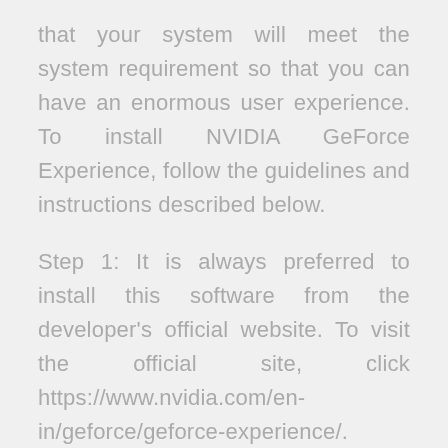that your system will meet the system requirement so that you can have an enormous user experience. To install NVIDIA GeForce Experience, follow the guidelines and instructions described below.
Step 1: It is always preferred to install this software from the developer's official website. To visit the official site, click https://www.nvidia.com/en-in/geforce/geforce-experience/.
Step 2: Alternatively, open your browser and search "Download NVIDIA GeForce